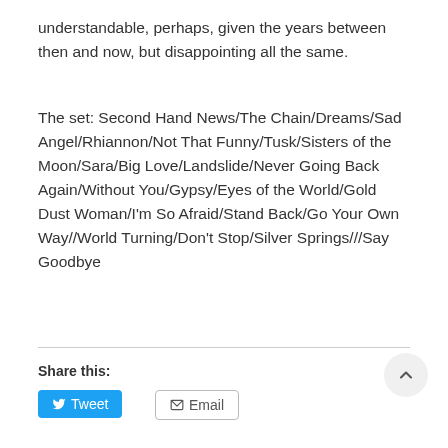understandable, perhaps, given the years between then and now, but disappointing all the same.
The set: Second Hand News/The Chain/Dreams/Sad Angel/Rhiannon/Not That Funny/Tusk/Sisters of the Moon/Sara/Big Love/Landslide/Never Going Back Again/Without You/Gypsy/Eyes of the World/Gold Dust Woman/I'm So Afraid/Stand Back/Go Your Own Way//World Turning/Don't Stop/Silver Springs///Say Goodbye
Share this: